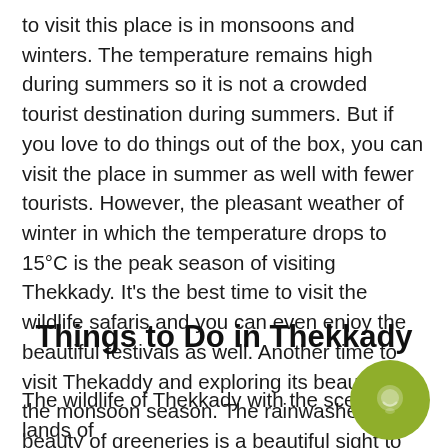to visit this place is in monsoons and winters. The temperature remains high during summers so it is not a crowded tourist destination during summers. But if you love to do things out of the box, you can visit the place in summer as well with fewer tourists. However, the pleasant weather of winter in which the temperature drops to 15°C is the peak season of visiting Thekkady. It's the best time to visit the wildlife safaris and you can even enjoy the beautiful festivals as well. Another time to visit Thekaddy and exploring its beauty is the monsoon season. The rainwashed beauty of greeneries is a beautiful sight to see. Remember! Take an umbrella or a raincoat with you because the rainfall is quite heavy and frequent in Thekkady during monsoons.
Things to Do in Thekkady
The wildlife of Thekkady with the scented lands of panoramic vistas, picturesque hill stations, tranquil waterfalls and lakes, and thrilling adventurous activities.